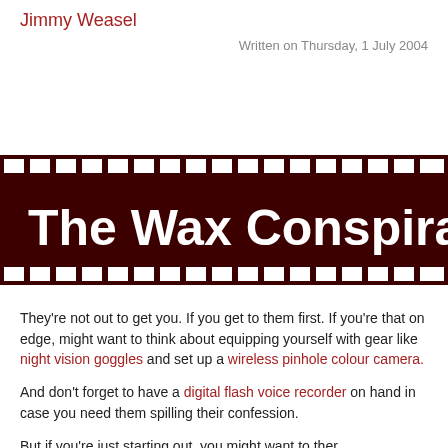Jimmy Weasel
Written on Thursday, 1 July 2004
The Wax Conspiracy
They're not out to get you. If you get to them first. If you're that on edge, might want to think about equipping yourself with gear like night vision goggles and set up a wireless pinhole colour camera.
And don't forget to have a digital flash voice recorder on hand in case you need them spilling their confession.
But if you're just starting out, you might want tother...